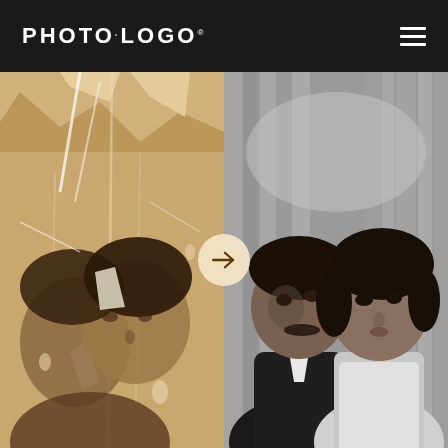[Figure (logo): PHOToLOGO brand logo in white text on dark header bar with hamburger menu icon on the right]
[Figure (photo): Before-and-after photo restoration comparison. Left: damaged sepia-toned old photograph of a couple with heavy tearing, creases and scratches. Right: restored clean black-and-white version of the same couple. A circular arrow icon in the center separates the two images.]